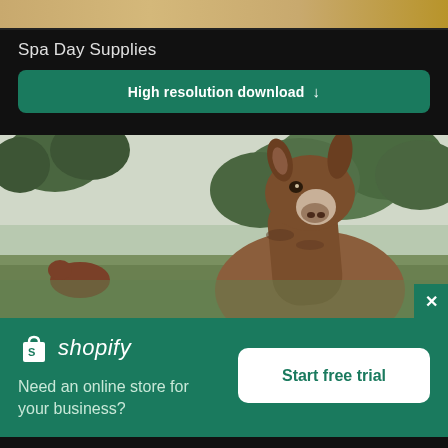[Figure (photo): Top strip showing a wooden surface texture in warm beige/tan tones]
Spa Day Supplies
High resolution download ↓
[Figure (photo): A llama facing the camera in a green field with trees in the background, with a close-up button (×) in the bottom right corner]
[Figure (logo): Shopify logo — shopping bag icon and italic shopify wordmark in white on teal green background]
Need an online store for your business?
Start free trial